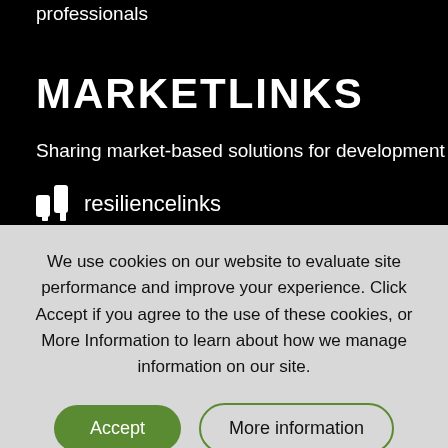professionals
MARKETLINKS
Sharing market-based solutions for development
[Figure (logo): resiliencelinks logo with icon and text]
We use cookies on our website to evaluate site performance and improve your experience. Click Accept if you agree to the use of these cookies, or More Information to learn about how we manage information on our site.
Accept
More information